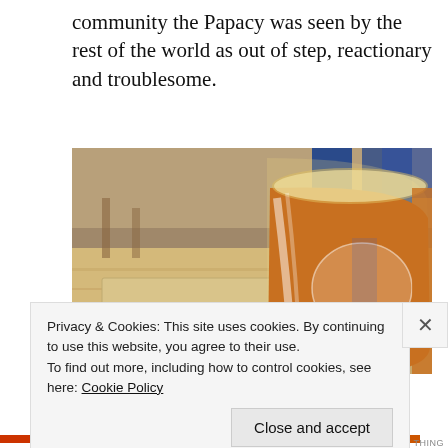community the Papacy was seen by the rest of the world as out of step, reactionary and troublesome.
[Figure (photo): A glass of amber beer sitting on a wooden table in a restaurant or bar setting, with blue chairs visible in the background.]
Privacy & Cookies: This site uses cookies. By continuing to use this website, you agree to their use.
To find out more, including how to control cookies, see here: Cookie Policy
Close and accept